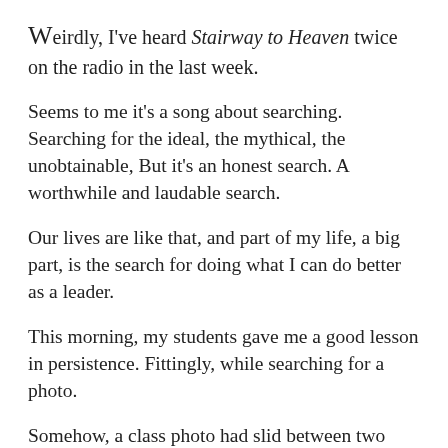Weirdly, I've heard Stairway to Heaven twice on the radio in the last week.
Seems to me it's a song about searching. Searching for the ideal, the mythical, the unobtainable, But it's an honest search. A worthwhile and laudable search.
Our lives are like that, and part of my life, a big part, is the search for doing what I can do better as a leader.
This morning, my students gave me a good lesson in persistence. Fittingly, while searching for a photo.
Somehow, a class photo had slid between two parts of a couch in the Learning Centre. Many theories were advanced and tried. But without success.
It seemed a hopeless case and rather than wreck the couch getting to the photo, I thought it best to use force and to...